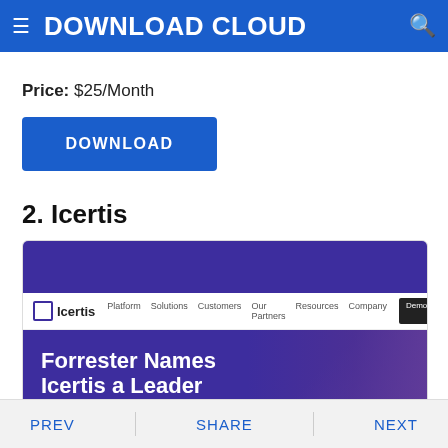DOWNLOAD CLOUD
Price: $25/Month
DOWNLOAD
2. Icertis
[Figure (screenshot): Screenshot of the Icertis website showing the navigation bar with logo, menu items (Platform, Solutions, Customers, Our Partners, Resources, Company), Demo and Contact Sales buttons, and a hero banner with text 'Forrester Names Icertis a Leader']
PREV    SHARE    NEXT